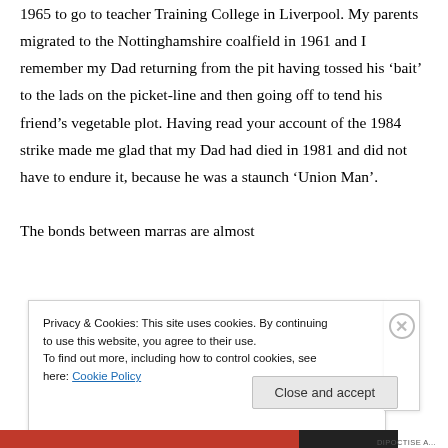1965 to go to Teacher Training College in Liverpool. My parents migrated to the Nottinghamshire coalfield in 1961 and I remember my Dad returning from the pit having tossed his ‘bait’ to the lads on the picket-line and then going off to tend his friend’s vegetable plot. Having read your account of the 1984 strike made me glad that my Dad had died in 1981 and did not have to endure it, because he was a staunch ‘Union Man’.
The bonds between marras are almost
Privacy & Cookies: This site uses cookies. By continuing to use this website, you agree to their use.
To find out more, including how to control cookies, see here: Cookie Policy
Close and accept
DIPOCTISE A...